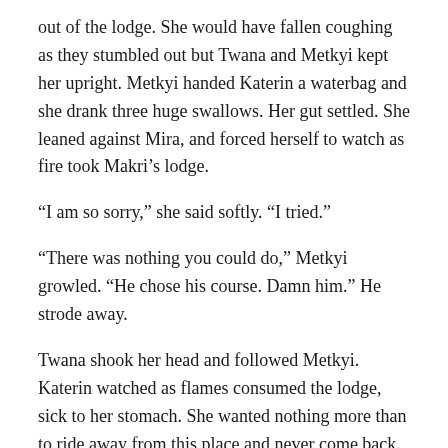out of the lodge. She would have fallen coughing as they stumbled out but Twana and Metkyi kept her upright. Metkyi handed Katerin a waterbag and she drank three huge swallows. Her gut settled. She leaned against Mira, and forced herself to watch as fire took Makri’s lodge.
“I am so sorry,” she said softly. “I tried.”
“There was nothing you could do,” Metkyi growled. “He chose his course. Damn him.” He strode away.
Twana shook her head and followed Metkyi. Katerin watched as flames consumed the lodge, sick to her stomach. She wanted nothing more than to ride away from this place and never come back.
But she had a job to do. She had to make